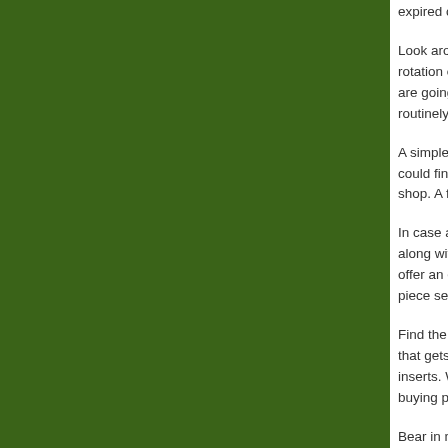[Figure (illustration): Large dark green rectangular panel occupying the left portion of the page]
expired coupon co...
Look around at the rotation of special d... are going to becom... routinely, simply be...
A simple search on... could find some co... shop. A few minute...
In case a product h... along with your tim... offer an exclusive s... piece separately al...
Find the Saturday p... that gets the pieces... inserts. Whilst the p... buying price of the...
Bear in mind how l... a 5 min generate th...